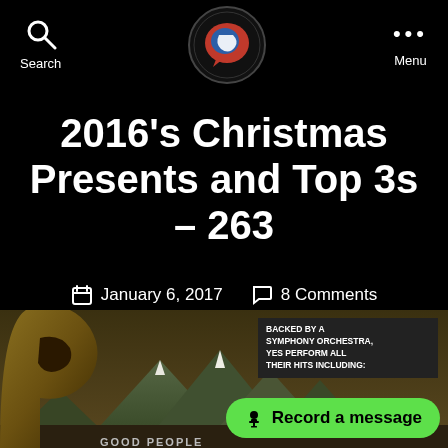Search | [Logo] | Menu
2016’s Christmas Presents and Top 3s – 263
January 6, 2017  8 Comments
[Figure (photo): Photo of a music CD/album with a mountain landscape and vinyl graphic on black background, with a sticker reading BACKED BY A SYMPHONY ORCHESTRA, YES PERFORM ALL THEIR HITS INCLUDING:, and partially visible text GOOD PEOPLE at the bottom]
Record a message